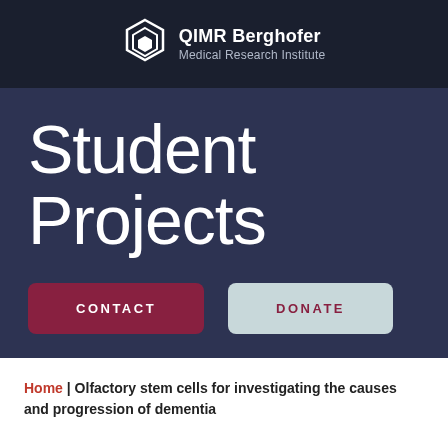[Figure (logo): QIMR Berghofer Medical Research Institute logo — white hexagon icon and white text on dark navy background]
Student Projects
CONTACT
DONATE
Home | Olfactory stem cells for investigating the causes and progression of dementia